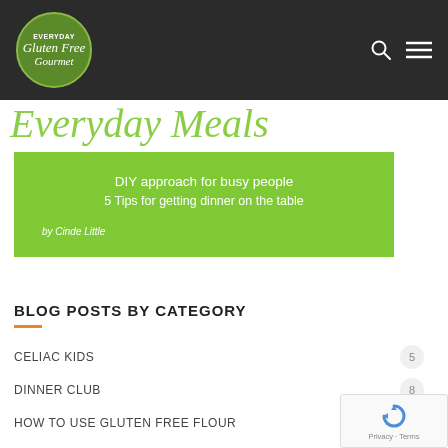Everyday Gluten Free Gourmet
[Figure (illustration): Partially visible italic green script text reading 'Everyday Meals']
[Figure (illustration): Green promotional box with text: DIY approach for busy people / 5 Tips for getting dinner on the table / by Cinde Little]
BLOG POSTS BY CATEGORY
CELIAC KIDS  5
DINNER CLUB  8
HOW TO USE GLUTEN FREE FLOUR  16